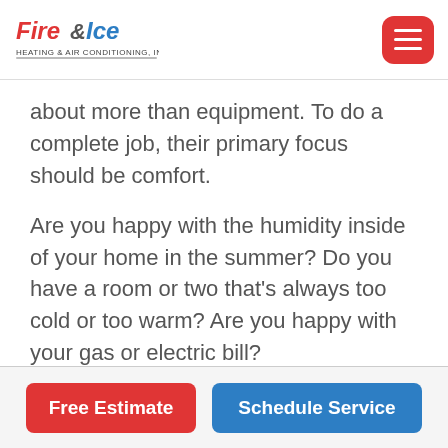[Figure (logo): Fire & Ice Heating & Air Conditioning, Inc. logo with red and blue stylized text]
about more than equipment. To do a complete job, their primary focus should be comfort.
Are you happy with the humidity inside of your home in the summer? Do you have a room or two that’s always too cold or too warm? Are you happy with your gas or electric bill?
Are you comfortable? Is your indoor air clean?
Free Estimate   Schedule Service